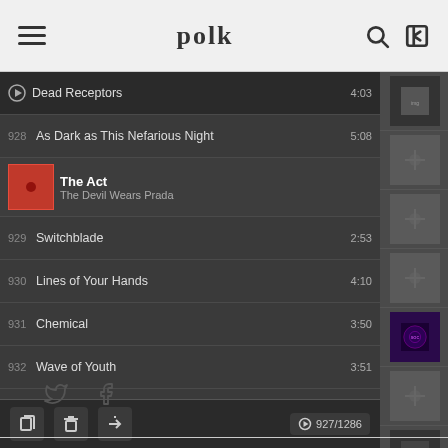polk — navigation bar with hamburger menu, search and login icons
[Figure (screenshot): Left panel: music playlist showing tracks 927-939 including Dead Receptors, As Dark as This Nefarious Night, The Act (The Devil Wears Prada - active), Switchblade, Lines of Your Hands, Chemical, Wave of Youth, Please Say No, The Thread, Numb, Isn't It Strange?, Diamond Lost, As Kids, Even Though. Bottom toolbar with edit/delete/export icons and track counter 927/1286. Right panel: artist list showing Six Feet Under, Skinny Puppy, Skrillex, Social Distortion, Society's Plague, Sodom, Soundgarden, Steppenwolf, Stevie Ray Vaughan.]
[Figure (logo): Twitter and Facebook social media icons]